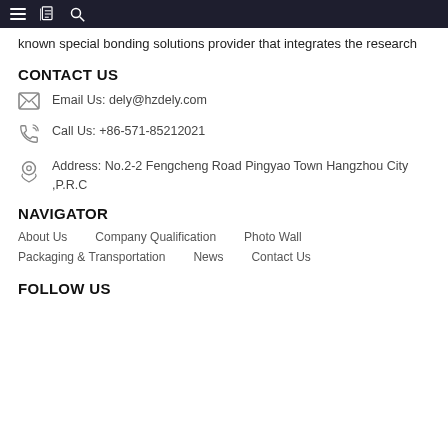≡  [icon]  🔍
known special bonding solutions provider that integrates the research
CONTACT US
Email Us: dely@hzdely.com
Call Us: +86-571-85212021
Address: No.2-2 Fengcheng Road Pingyao Town Hangzhou City ,P.R.C
NAVIGATOR
About Us
Company Qualification
Photo Wall
Packaging & Transportation
News
Contact Us
FOLLOW US